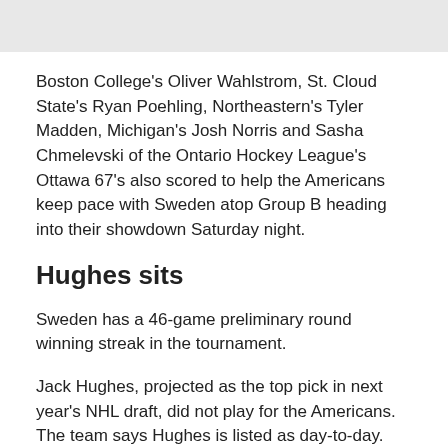Boston College's Oliver Wahlstrom, St. Cloud State's Ryan Poehling, Northeastern's Tyler Madden, Michigan's Josh Norris and Sasha Chmelevski of the Ontario Hockey League's Ottawa 67's also scored to help the Americans keep pace with Sweden atop Group B heading into their showdown Saturday night.
Hughes sits
Sweden has a 46-game preliminary round winning streak in the tournament.
Jack Hughes, projected as the top pick in next year's NHL draft, did not play for the Americans. The team says Hughes is listed as day-to-day.